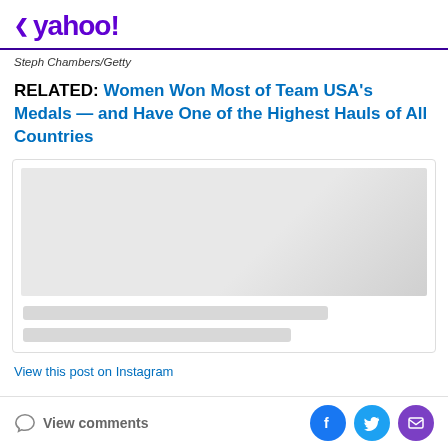< yahoo!
Steph Chambers/Getty
RELATED: Women Won Most of Team USA's Medals — and Have One of the Highest Hauls of All Countries
[Figure (screenshot): Instagram embed placeholder with grey image area and two grey loading bars]
View this post on Instagram
View comments | Facebook share | Twitter share | Email share